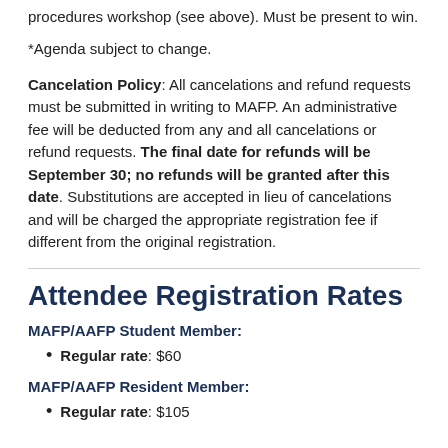procedures workshop (see above). Must be present to win.
*Agenda subject to change.
Cancelation Policy: All cancelations and refund requests must be submitted in writing to MAFP. An administrative fee will be deducted from any and all cancelations or refund requests. The final date for refunds will be September 30; no refunds will be granted after this date. Substitutions are accepted in lieu of cancelations and will be charged the appropriate registration fee if different from the original registration.
Attendee Registration Rates
MAFP/AAFP Student Member:
Regular rate: $60
MAFP/AAFP Resident Member:
Regular rate: $105